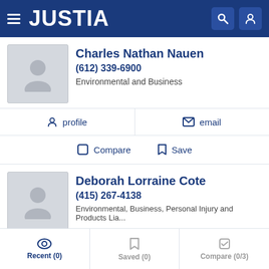JUSTIA
Charles Nathan Nauen
(612) 339-6900
Environmental and Business
profile
email
Compare
Save
Deborah Lorraine Cote
(415) 267-4138
Environmental, Business, Personal Injury and Products Lia...
website
profile
email
Recent (0)   Saved (0)   Compare (0/3)